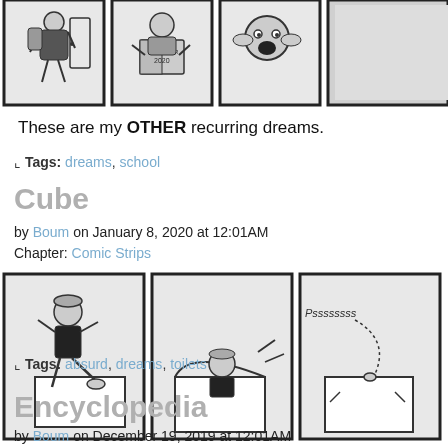[Figure (illustration): Top portion of a comic strip showing cartoon panels in black and white: a child walking with a backpack, a character reading a book labeled 'PLANNER 2020', a distressed character, and a partially visible fourth panel.]
These are my OTHER recurring dreams.
⌐ Tags: dreams, school
Cube
by Boum on January 8, 2020 at 12:01AM
Chapter: Comic Strips
[Figure (illustration): Comic strip panels in black and white: a child kicking a white cube, a character climbing into the cube, a box with 'Pssssssss...' sound effect, and a partially visible fourth panel with speech bubble reading 'W... DRE... DO...']
⌐ Tags: absurd, dreams, toilets
Encyclopedia
by Boum on December 19, 2019 at 12:01AM